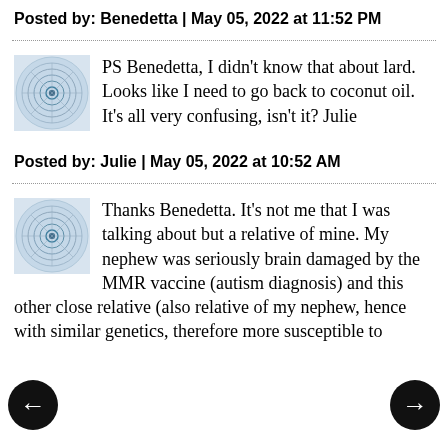Posted by: Benedetta | May 05, 2022 at 11:52 PM
PS Benedetta, I didn't know that about lard. Looks like I need to go back to coconut oil. It's all very confusing, isn't it? Julie
Posted by: Julie | May 05, 2022 at 10:52 AM
Thanks Benedetta. It's not me that I was talking about but a relative of mine. My nephew was seriously brain damaged by the MMR vaccine (autism diagnosis) and this other close relative (also relative of my nephew, hence with similar genetics, therefore more susceptible to